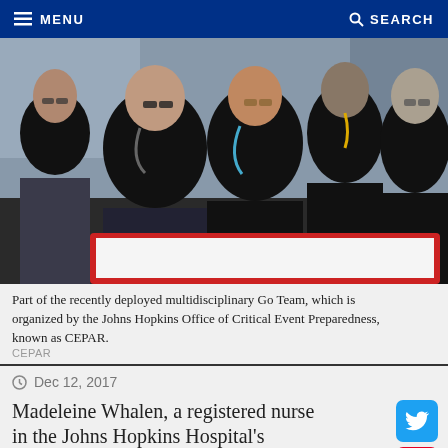MENU | SEARCH
[Figure (photo): Group photo of multidisciplinary Go Team members in black scrubs/t-shirts with stethoscopes, holding a red-bordered white board, outdoors.]
Part of the recently deployed multidisciplinary Go Team, which is organized by the Johns Hopkins Office of Critical Event Preparedness, known as CEPAR.
CEPAR
Dec 12, 2017
Madeleine Whalen, a registered nurse in the Johns Hopkins Hospital's Emergency